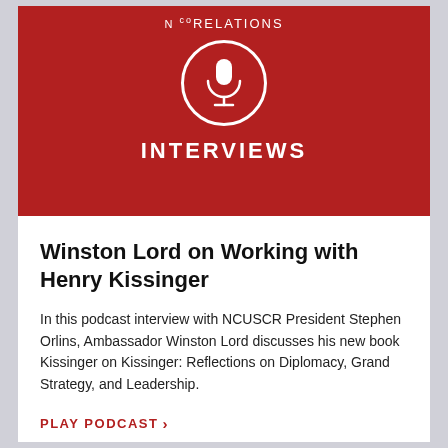[Figure (logo): NCUSCR Relations Interviews podcast logo: dark red background with white text showing partial logo 'NCUSCR RELATIONS', a white circle containing a microphone icon, and the word 'INTERVIEWS' in bold white capital letters.]
Winston Lord on Working with Henry Kissinger
In this podcast interview with NCUSCR President Stephen Orlins, Ambassador Winston Lord discusses his new book Kissinger on Kissinger: Reflections on Diplomacy, Grand Strategy, and Leadership.
PLAY PODCAST >